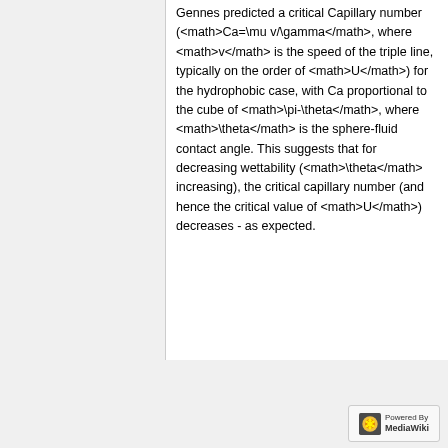Gennes predicted a critical Capillary number (<math>Ca=\mu v/\gamma</math>, where <math>v</math> is the speed of the triple line, typically on the order of <math>U</math>) for the hydrophobic case, with Ca proportional to the cube of <math>\pi-\theta</math>, where <math>\theta</math> is the sphere-fluid contact angle. This suggests that for decreasing wettability (<math>\theta</math> increasing), the critical capillary number (and hence the critical value of <math>U</math>) decreases - as expected.
Privacy policy   About Soft-Matter   Disclaimers